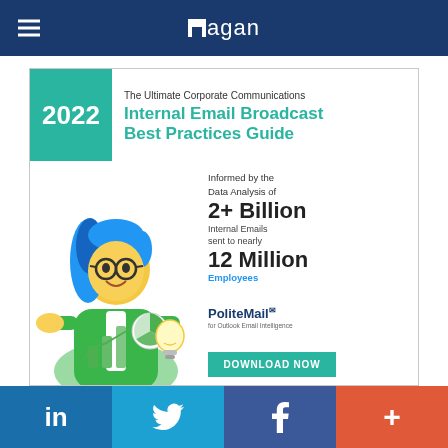Ragan
[Figure (illustration): 2022 The Ultimate Corporate Communications Internal Email Broadcast Best Practices Guide. Features a cartoon woman with blue hair, green jacket, glasses, holding a lightbulb and analytics chart. Text: Informed by the Data Analysis of 2+ Billion Internal Emails sent to nearly 12 Million Employees. PoliteMail logo. DOWNLOAD NOW button.]
LinkedIn | Twitter | Facebook | +